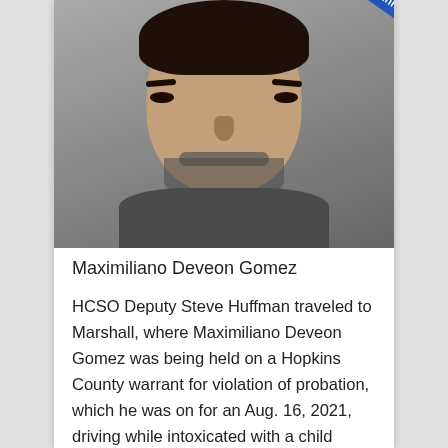[Figure (photo): Mugshot of Maximiliano Deveon Gomez, a middle-aged Hispanic man with dark hair and a beard, wearing a gray shirt. A blue diagonal banner in the upper right corner reads 'KSST's YouTube Channel'.]
Maximiliano Deveon Gomez
HCSO Deputy Steve Huffman traveled to Marshall, where Maximiliano Deveon Gomez was being held on a Hopkins County warrant for violation of probation, which he was on for an Aug. 16, 2021, driving while intoxicated with a child younger